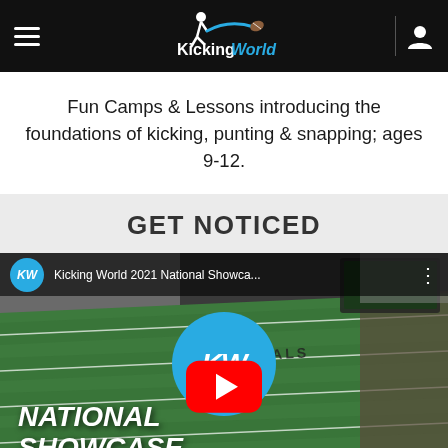Kicking World
Fun Camps & Lessons introducing the foundations of kicking, punting & snapping; ages 9-12.
GET NOTICED
[Figure (screenshot): YouTube video thumbnail for Kicking World 2021 National Showcase showing an aerial view of a football field (Cardinals field) with a large KW logo circle and YouTube play button overlay. Text reads NATIONAL SHOWCASE at the bottom.]